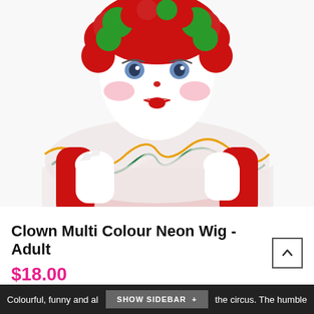[Figure (photo): A person dressed as a clown wearing a red and green curly multicolour neon wig, white face paint with red lips and pink cheeks, a white ruffled clown collar with orange and green trim, a red costume, and white gloves. The person is posing with hands together near their chin against a white background.]
Clown Multi Colour Neon Wig - Adult
$18.00
AVAILABILITY:   Out of stock
Colourful, funny and al... the circus. The humble